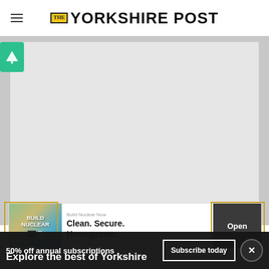THE YORKSHIRE POST
[Figure (other): Grey advertisement placeholder area with a green AdSense-style icon in the top-left corner]
[Figure (other): Banner advertisement: Build Nuclear Now — Clean. Secure. Homegrown. with an Open button]
Explore the best of Yorkshire
50% off annual subscriptions
Subscribe today